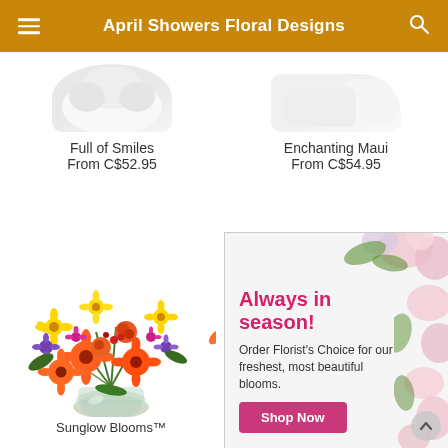April Showers Floral Designs
Full of Smiles
From C$52.95
Enchanting Maui
From C$54.95
[Figure (photo): Colorful flower bouquet with orange gerberas, yellow daisies, purple flowers, and orange roses in a glass vase — Sunglow Blooms]
[Figure (infographic): Promotional banner with flowers, reading: Always in season! Order Florist's Choice for our freshest, most beautiful blooms. Shop Now button.]
Sunglow Blooms™